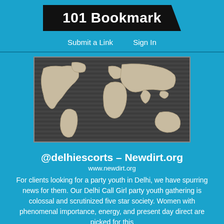101 Bookmark
Submit a Link    Sign In
[Figure (illustration): A 3D relief world map with beige/cream continents on a dark gray slatted background.]
@delhiescorts – Newdirt.org
www.newdirt.org
For clients looking for a party youth in Delhi, we have spurring news for them. Our Delhi Call Girl party youth gathering is colossal and scrutinized five star society. Women with phenomenal importance, energy, and present day direct are picked for this